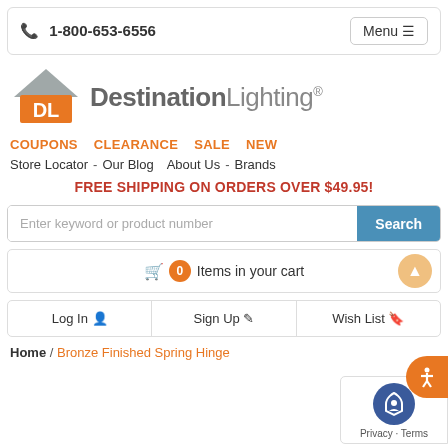📞 1-800-653-6556  Menu ☰
[Figure (logo): DestinationLighting logo with orange house icon and DL letters]
COUPONS   CLEARANCE   SALE   NEW
Store Locator  -  Our Blog   About Us  -  Brands
FREE SHIPPING ON ORDERS OVER $49.95!
Enter keyword or product number  [Search]
🛒 0 Items in your cart
Log In 👤   Sign Up ✏   Wish List 🔖
Home / Bronze Finished Spring Hinge